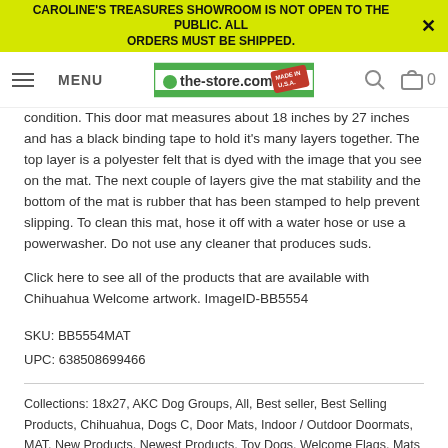CAROLINE'S TREASURES SHOWROOM IS NOT OPEN TO THE PUBLIC. ALL ORDERS MUST BE SHIPPED.
[Figure (screenshot): Navigation bar with hamburger menu, MENU label, the-store.com logo with Made in USA stamp, search icon, and cart icon showing 0 items]
condition. This door mat measures about 18 inches by 27 inches and has a black binding tape to hold it's many layers together. The top layer is a polyester felt that is dyed with the image that you see on the mat. The next couple of layers give the mat stability and the bottom of the mat is rubber that has been stamped to help prevent slipping. To clean this mat, hose it off with a water hose or use a powerwasher. Do not use any cleaner that produces suds.
Click here to see all of the products that are available with Chihuahua Welcome artwork. ImageID-BB5554
SKU: BB5554MAT
UPC: 638508699466
Collections: 18x27, AKC Dog Groups, All, Best seller, Best Selling Products, Chihuahua, Dogs C, Door Mats, Indoor / Outdoor Doormats, MAT, New Products, Newest Products, Toy Dogs, Welcome Flags, Mats & MORE!
Type: Door Mats
Category: 18x27, BB5554, BB5554MAT, chihuahua, door-mats, front door mat, outdoor mat, printed rug, toy dogs, washable floor mat, welcome flags, mats